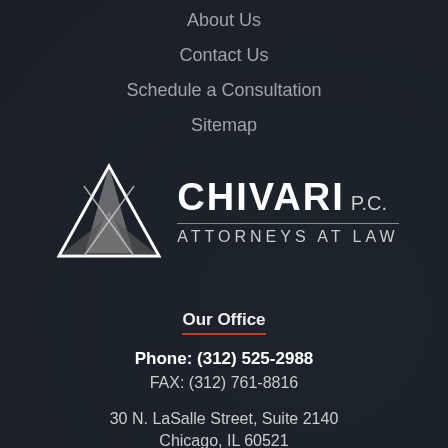About Us
Contact Us
Schedule a Consultation
Sitemap
[Figure (logo): Chivari P.C. Attorneys at Law logo with two overlapping triangles and company name]
Our Office
Phone: (312) 525-2988
FAX: (312) 761-8816
30 N. LaSalle Street, Suite 2140
Chicago, IL 60521